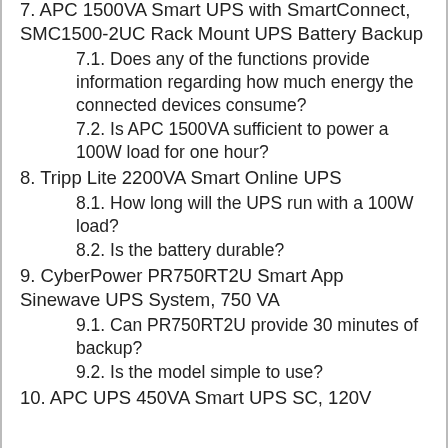7. APC 1500VA Smart UPS with SmartConnect, SMC1500-2UC Rack Mount UPS Battery Backup
7.1. Does any of the functions provide information regarding how much energy the connected devices consume?
7.2. Is APC 1500VA sufficient to power a 100W load for one hour?
8. Tripp Lite 2200VA Smart Online UPS
8.1. How long will the UPS run with a 100W load?
8.2. Is the battery durable?
9. CyberPower PR750RT2U Smart App Sinewave UPS System, 750 VA
9.1. Can PR750RT2U provide 30 minutes of backup?
9.2. Is the model simple to use?
10. APC UPS 450VA Smart UPS SC, 120V